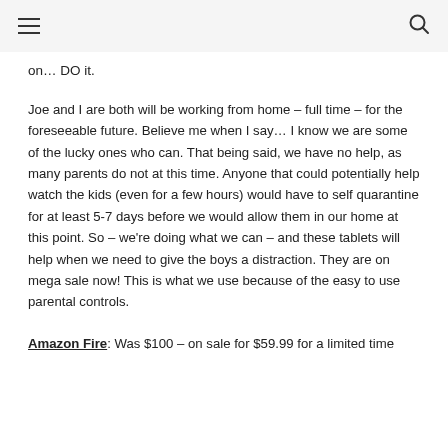≡  🔍
on… DO it.
Joe and I are both will be working from home – full time – for the foreseeable future. Believe me when I say… I know we are some of the lucky ones who can. That being said, we have no help, as many parents do not at this time. Anyone that could potentially help watch the kids (even for a few hours) would have to self quarantine for at least 5-7 days before we would allow them in our home at this point. So – we're doing what we can – and these tablets will help when we need to give the boys a distraction. They are on mega sale now! This is what we use because of the easy to use parental controls.
Amazon Fire: Was $100 – on sale for $59.99 for a limited time